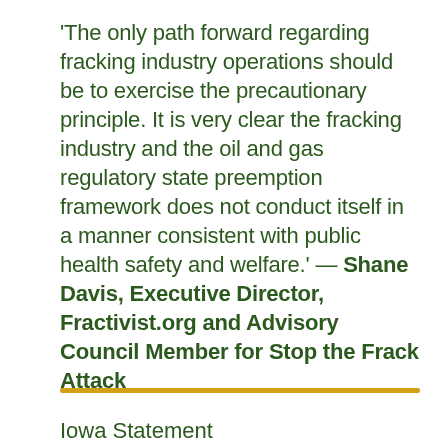'The only path forward regarding fracking industry operations should be to exercise the precautionary principle. It is very clear the fracking industry and the oil and gas regulatory state preemption framework does not conduct itself in a manner consistent with public health safety and welfare.' — Shane Davis, Executive Director, Fractivist.org and Advisory Council Member for Stop the Frack Attack
Iowa Statement